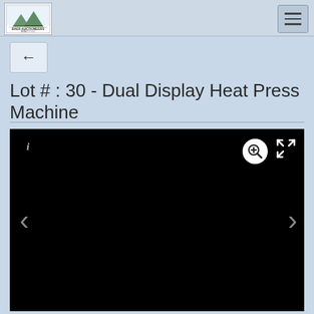Baer Auctioneers Realty
Lot # : 30 - Dual Display Heat Press Machine
[Figure (photo): Image viewer area showing a dark/black product photo of a Dual Display Heat Press Machine with navigation arrows and zoom controls]